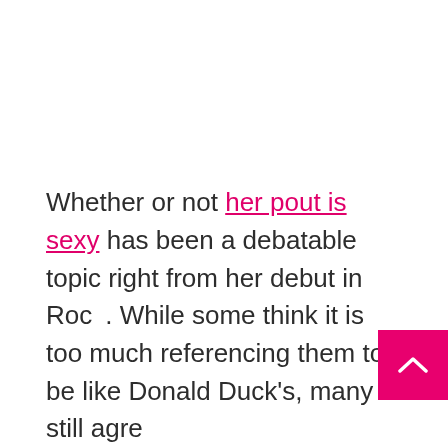Whether or not her pout is sexy has been a debatable topic right from her debut in Roc... While some think it is too much referencing them to be like Donald Duck's, many still agree